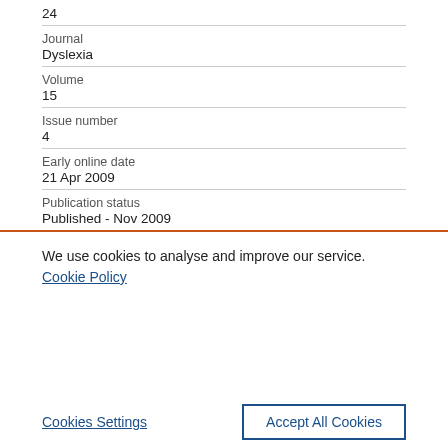| 24 |  |
| Journal | Dyslexia |
| Volume | 15 |
| Issue number | 4 |
| Early online date | 21 Apr 2009 |
| Publication status | Published - Nov 2009 |
We use cookies to analyse and improve our service. Cookie Policy
Cookies Settings
Accept All Cookies